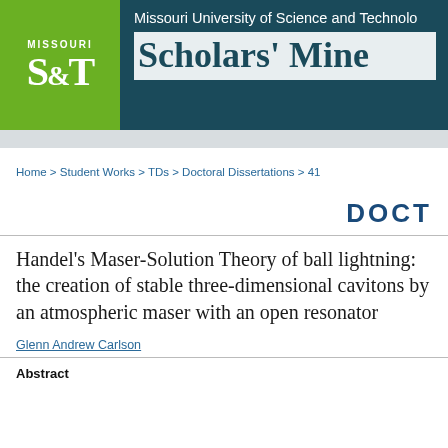[Figure (logo): Missouri S&T Scholars' Mine header banner with green logo box and dark teal background]
Home > Student Works > TDs > Doctoral Dissertations > 41
DOCTO
Handel's Maser-Solution Theory of ball lightning: the creation of stable three-dimensional cavitons by an atmospheric maser with an open resonator
Glenn Andrew Carlson
Abstract